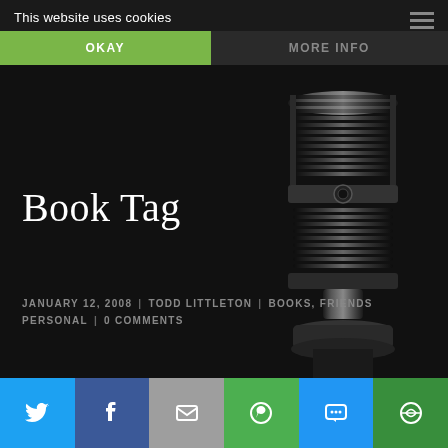This website uses cookies
OKAY
MORE INFO
[Figure (photo): Vintage silver/black microphone on dark background, right side of page]
Book Tag
JANUARY 12, 2008  |  TODD LITTLETON  |  BOOKS, FRIENDS PERSONAL  |  0 COMMENTS